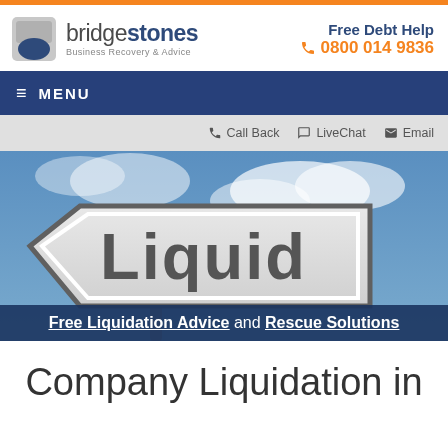[Figure (logo): Bridgestones Business Recovery & Advice logo with mountain/cloud icon]
Free Debt Help
☎ 0800 014 9836
≡ MENU
☎ Call Back  💬 LiveChat  ✉ Email
[Figure (photo): A road sign pointing left reading 'Liquid...' (Liquidation) against a blue sky with clouds]
Free Liquidation Advice and Rescue Solutions
Company Liquidation in